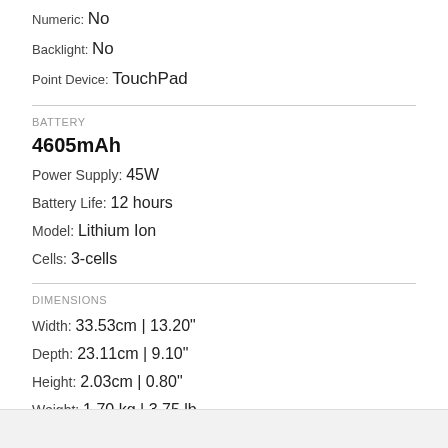Numeric: No
Backlight: No
Point Device: TouchPad
BATTERY
4605mAh
Power Supply: 45W
Battery Life: 12 hours
Model: Lithium Ion
Cells: 3-cells
DIMENSIONS
Width: 33.53cm | 13.20"
Depth: 23.11cm | 9.10"
Height: 2.03cm | 0.80"
Weight: 1.70 kg | 3.75 lb
Model: c7aa57d0e3044b47bf8697c809fb05bd